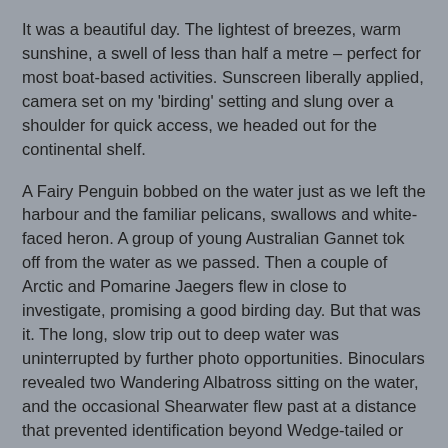It was a beautiful day. The lightest of breezes, warm sunshine, a swell of less than half a metre – perfect for most boat-based activities. Sunscreen liberally applied, camera set on my 'birding' setting and slung over a shoulder for quick access, we headed out for the continental shelf.
A Fairy Penguin bobbed on the water just as we left the harbour and the familiar pelicans, swallows and white-faced heron. A group of young Australian Gannet tok off from the water as we passed. Then a couple of Arctic and Pomarine Jaegers flew in close to investigate, promising a good birding day. But that was it. The long, slow trip out to deep water was uninterrupted by further photo opportunities. Binoculars revealed two Wandering Albatross sitting on the water, and the occasional Shearwater flew past at a distance that prevented identification beyond Wedge-tailed or Short-tailed.
We crossed a strongly flowing current where several White-faced Storm-petrels were feeding, which lifted our spirits in anticipation of increasing numbers of birds as we got further out. A fast travelling Sooty Shearwater heightened anticipation.